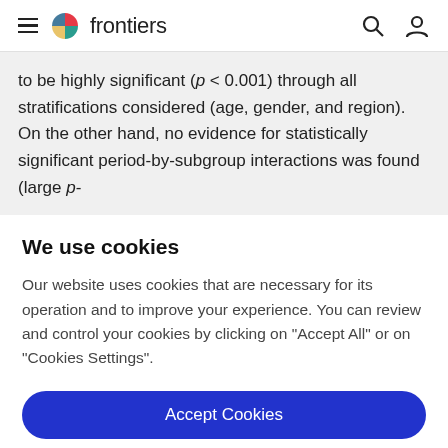frontiers
to be highly significant (p < 0.001) through all stratifications considered (age, gender, and region). On the other hand, no evidence for statistically significant period-by-subgroup interactions was found (large p-
We use cookies
Our website uses cookies that are necessary for its operation and to improve your experience. You can review and control your cookies by clicking on "Accept All" or on "Cookies Settings".
Accept Cookies
Cookies Settings